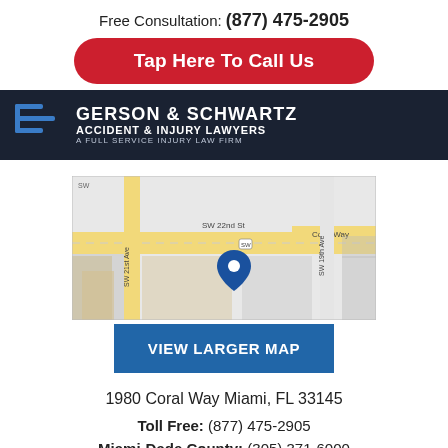Free Consultation: (877) 475-2905
Tap Here To Call Us
[Figure (logo): Gerson & Schwartz Accident & Injury Lawyers - A Full Service Injury Law Firm logo on dark navy background]
[Figure (map): Google map showing location at SW 22nd St / Coral Way area in Miami with blue pin marker]
VIEW LARGER MAP
1980 Coral Way Miami, FL 33145
Toll Free: (877) 475-2905
Miami-Dade County: (305) 371-6000
Broward County: (954) 845-0535